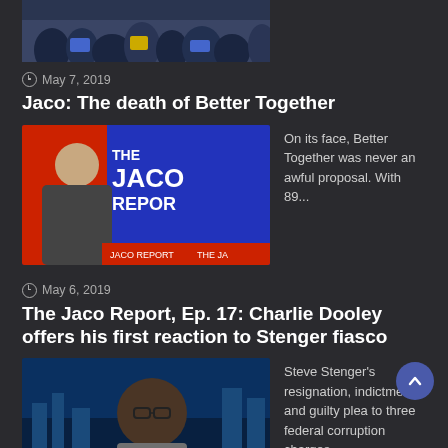[Figure (photo): Top cropped photo showing a crowd of people, partially visible]
May 7, 2019
Jaco: The death of Better Together
[Figure (photo): Thumbnail image showing The Jaco Report TV show graphic with a man in a suit]
On its face, Better Together was never an awful proposal. With 89...
May 6, 2019
The Jaco Report, Ep. 17: Charlie Dooley offers his first reaction to Stenger fiasco
[Figure (photo): Thumbnail image showing Charlie Dooley, an older Black man in a gray shirt, against a city skyline background]
Steve Stenger's resignation, indictment, and guilty plea to three federal corruption charges...
May 6, 2019
Jaco: The buzz about Lacy Clay's